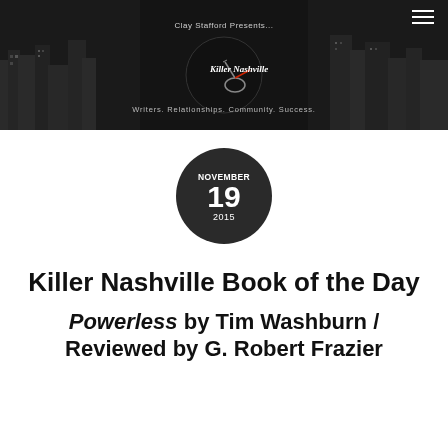[Figure (illustration): Killer Nashville website header banner with Nashville skyline in black and white. Text reads 'Clay Stafford Presents...' and 'Killer Nashville' logo with guitar. Tagline: 'Writers. Relationships. Community. Success.' Hamburger menu icon top right.]
NOVEMBER 19 2015
Killer Nashville Book of the Day
Powerless by Tim Washburn / Reviewed by G. Robert Frazier